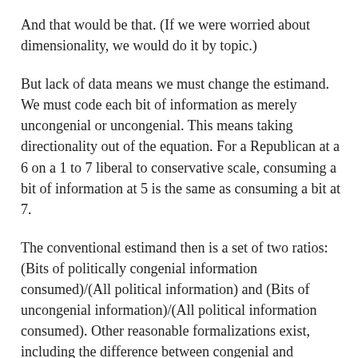And that would be that. (If we were worried about dimensionality, we would do it by topic.)
But lack of data means we must change the estimand. We must code each bit of information as merely uncongenial or uncongenial. This means taking directionality out of the equation. For a Republican at a 6 on a 1 to 7 liberal to conservative scale, consuming a bit of information at 5 is the same as consuming a bit at 7.
The conventional estimand then is a set of two ratios: (Bits of politically congenial information consumed)/(All political information) and (Bits of uncongenial information)/(All political information consumed). Other reasonable formalizations exist, including the difference between congenial and uncongenial. (Note that the denominator is absent, and reasonably so.)
To estimate these quantities, we must often make further assumptions. First, we must decide on the domain of political information. That domain is likely vast and increasing by the